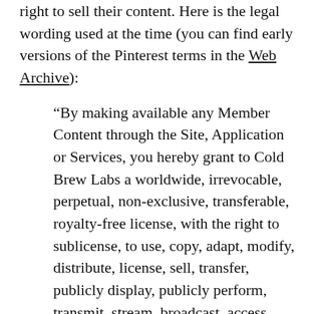right to sell their content. Here is the legal wording used at the time (you can find early versions of the Pinterest terms in the Web Archive):
“By making available any Member Content through the Site, Application or Services, you hereby grant to Cold Brew Labs a worldwide, irrevocable, perpetual, non-exclusive, transferable, royalty-free license, with the right to sublicense, to use, copy, adapt, modify, distribute, license, sell, transfer, publicly display, publicly perform, transmit, stream, broadcast, access, view, and otherwise exploit such Member Content only on, through or by means of the Site, Application or Services.”
Now, when Pinterest sent an email to users announcing that it was updating its terms of use, it said (among other things):